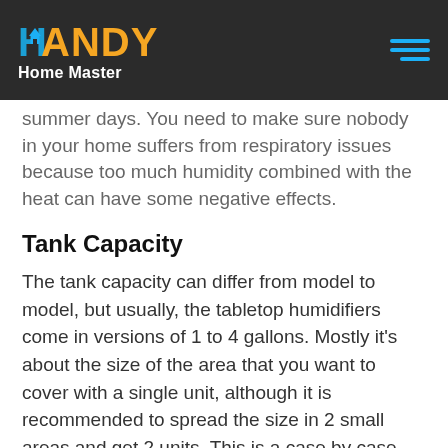HANDY Home Master
summer days. You need to make sure nobody in your home suffers from respiratory issues because too much humidity combined with the heat can have some negative effects.
Tank Capacity
The tank capacity can differ from model to model, but usually, the tabletop humidifiers come in versions of 1 to 4 gallons. Mostly it's about the size of the area that you want to cover with a single unit, although it is recommended to spread the size in 2 small areas and get 2 units. This is a case by case scenario that needs to be decided on depending on where you want to use the device. Even though